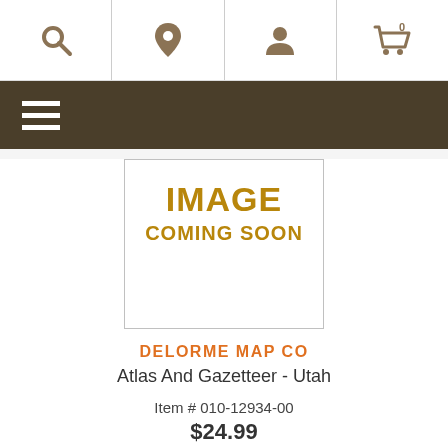[Figure (screenshot): Website navigation bar with search, location pin, user profile, and shopping cart (0) icons]
[Figure (other): Dark brown menu bar with hamburger (three lines) icon]
[Figure (other): White placeholder box with text IMAGE COMING SOON in gold/brown bold letters]
DELORME MAP CO
Atlas And Gazetteer - Utah
Item # 010-12934-00
$24.99